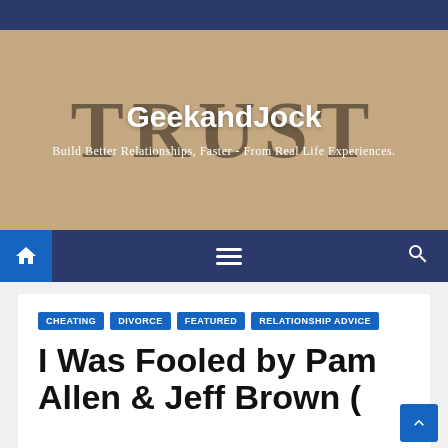GeekandJock
Build Better Relationships, Faster - From Real Life Experiences.
[Figure (screenshot): Website banner with 'TRUST' text in background, site logo and tagline overlay]
Navigation bar with home, menu, and search icons
CHEATING
DIVORCE
FEATURED
RELATIONSHIP ADVICE
I Was Fooled by Pam Allen & Jeff Brown (